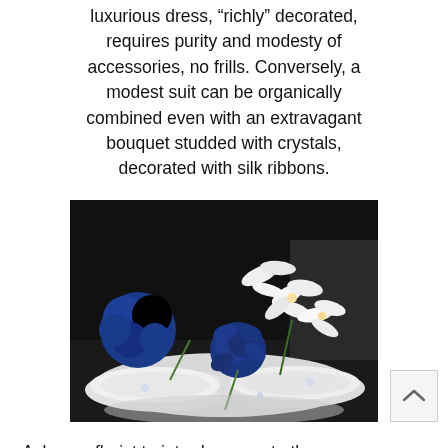luxurious dress, “richly” decorated, requires purity and modesty of accessories, no frills. Conversely, a modest suit can be organically combined even with an extravagant bouquet studded with crystals, decorated with silk ribbons.
[Figure (photo): Photo of a wedding bouquet arrangement featuring blue roses and white lilies laid on white satin ring-bearer pillows, shot against a dark background.]
Ask your florist to introduce you to the different shapes and types of wedding